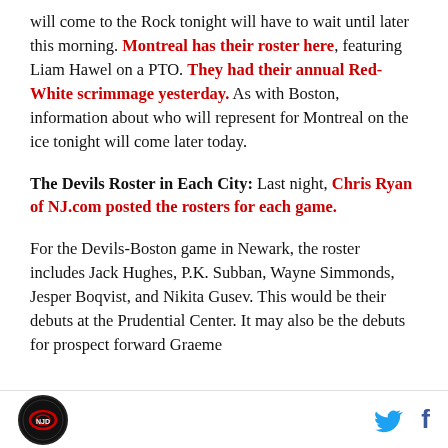will come to the Rock tonight will have to wait until later this morning. Montreal has their roster here, featuring Liam Hawel on a PTO. They had their annual Red-White scrimmage yesterday. As with Boston, information about who will represent for Montreal on the ice tonight will come later today.
The Devils Roster in Each City: Last night, Chris Ryan of NJ.com posted the rosters for each game.
For the Devils-Boston game in Newark, the roster includes Jack Hughes, P.K. Subban, Wayne Simmonds, Jesper Boqvist, and Nikita Gusev. This would be their debuts at the Prudential Center. It may also be the debuts for prospect forward Graeme
NJ Devils logo | Twitter | Facebook